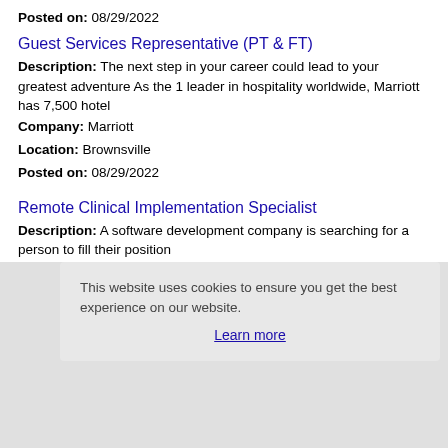Posted on: 08/29/2022
Guest Services Representative (PT & FT)
Description: The next step in your career could lead to your greatest adventure As the 1 leader in hospitality worldwide, Marriott has 7,500 hotel
Company: Marriott
Location: Brownsville
Posted on: 08/29/2022
Remote Clinical Implementation Specialist
Description: A software development company is searching for a person to fill their position
Company: VirtualVocations
Location: Brownsville
Posted on: 08/29/2022
This website uses cookies to ensure you get the best experience on our website.
Learn more
Loading more jobs...
Log In or Create An Account
Username: